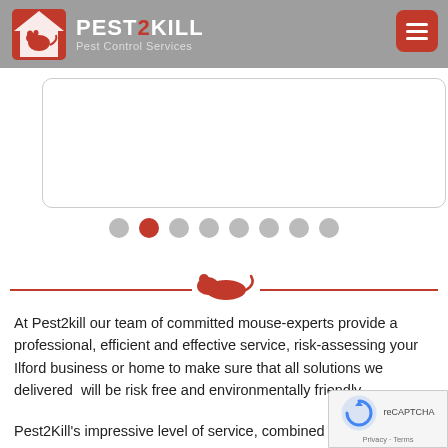[Figure (logo): Pest2Kill Pest Control Services logo with red house/rat icon on grey header bar, and red hamburger menu button on the right]
[Figure (screenshot): White rounded-corner card/slider panel below the header]
[Figure (infographic): Carousel pagination dots: 8 circles, second one filled red (active), rest grey]
[Figure (illustration): Red horizontal divider line with a red rat silhouette icon centered on it]
At Pest2kill our team of committed mouse-experts provide a professional, efficient and effective service, risk-assessing your Ilford business or home to make sure that all solutions we delivered  will be risk free and environmentally friendly
Pest2Kill's impressive level of service, combined with affordable pricing has already made us the best choice in M...